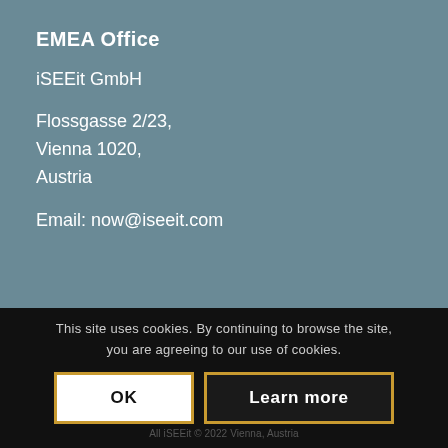EMEA Office
iSEEit GmbH
Flossgasse 2/23,
Vienna 1020,
Austria
Email: now@iseeit.com
This site uses cookies. By continuing to browse the site, you are agreeing to our use of cookies.
OK
Learn more
All iSEEit © 2022 Vienna, Austria